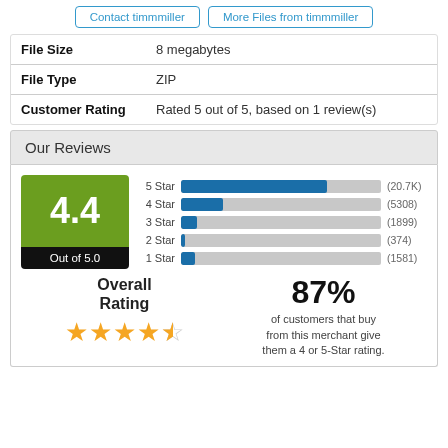Contact timmmiller
More Files from timmmiller
|  |  |
| --- | --- |
| File Size | 8 megabytes |
| File Type | ZIP |
| Customer Rating | Rated 5 out of 5, based on 1 review(s) |
Our Reviews
[Figure (bar-chart): 4.4 Out of 5.0]
Overall Rating
87% of customers that buy from this merchant give them a 4 or 5-Star rating.